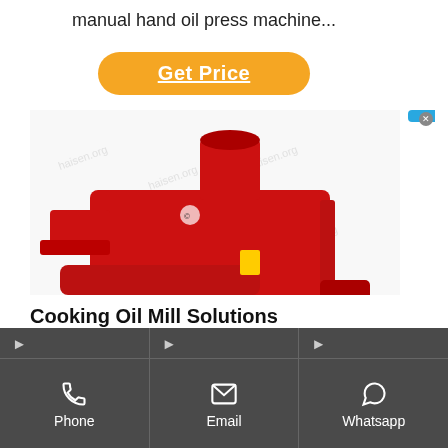manual hand oil press machine...
[Figure (other): Orange rounded button labeled 'Get Price' with underlined white text]
[Figure (photo): Red industrial cooking oil mill / press machine on a white background with watermark text]
[Figure (other): Blue sidebar badge with Chinese characters: 在线咨询 (Online Consultation) with a small X/close button]
Cooking Oil Mill Solutions 08048034038 | Cooking...
Phone | Email | Whatsapp